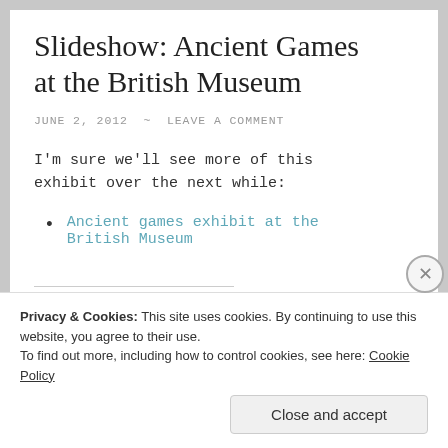Slideshow: Ancient Games at the British Museum
JUNE 2, 2012  ~  LEAVE A COMMENT
I'm sure we'll see more of this exhibit over the next while:
Ancient games exhibit at the British Museum
Privacy & Cookies: This site uses cookies. By continuing to use this website, you agree to their use.
To find out more, including how to control cookies, see here: Cookie Policy
Close and accept